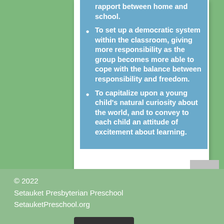rapport between home and school.
To set up a democratic system within the classroom, giving more responsibility as the group becomes more able to cope with the balance between responsibility and freedom.
To capitalize upon a young child's natural curiosity about the world, and to convey to each child an attitude of excitement about learning.
© 2022 Setauket Presbyterian Preschool SetauketPreschool.org